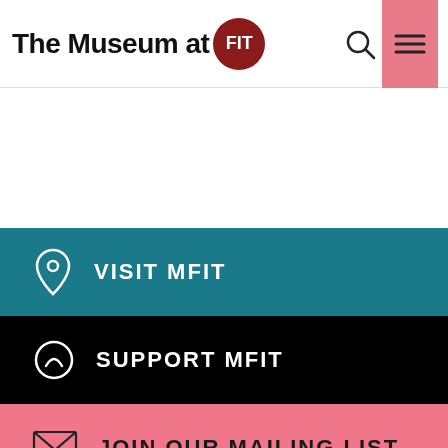The Museum at FIT
VISIT MFIT
SUPPORT MFIT
JOIN OUR MAILING LIST
Back to top ▲